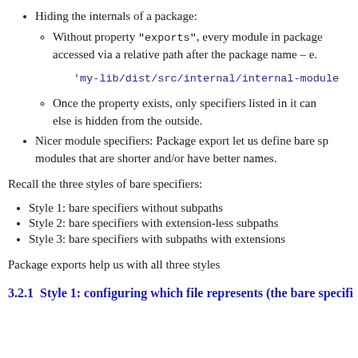Hiding the internals of a package:
Without property "exports", every module in package accessed via a relative path after the package name – e.
'my-lib/dist/src/internal/internal-module
Once the property exists, only specifiers listed in it can else is hidden from the outside.
Nicer module specifiers: Package export let us define bare sp modules that are shorter and/or have better names.
Recall the three styles of bare specifiers:
Style 1: bare specifiers without subpaths
Style 2: bare specifiers with extension-less subpaths
Style 3: bare specifiers with subpaths with extensions
Package exports help us with all three styles
3.2.1 Style 1: configuring which file represents (the bare specifi